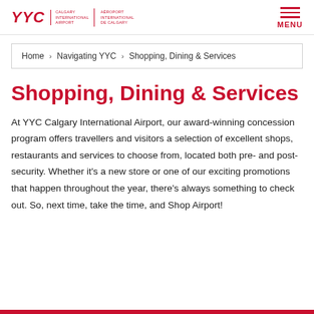YYC Calgary International Airport / Aéroport International de Calgary — MENU
Home › Navigating YYC › Shopping, Dining & Services
Shopping, Dining & Services
At YYC Calgary International Airport, our award-winning concession program offers travellers and visitors a selection of excellent shops, restaurants and services to choose from, located both pre- and post-security. Whether it's a new store or one of our exciting promotions that happen throughout the year, there's always something to check out. So, next time, take the time, and Shop Airport!